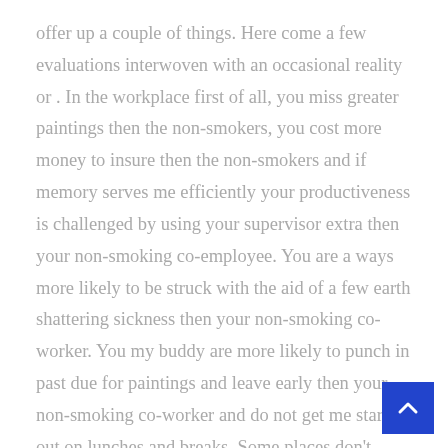offer up a couple of things. Here come a few evaluations interwoven with an occasional reality or . In the workplace first of all, you miss greater paintings then the non-smokers, you cost more money to insure then the non-smokers and if memory serves me efficiently your productiveness is challenged by using your supervisor extra then your non-smoking co-employee. You are a ways more likely to be struck with the aid of a few earth shattering sickness then your non-smoking co-worker. You my buddy are more likely to punch in past due for paintings and leave early then your non-smoking co-worker and do not get me started out on lunches and breaks. Some places don't mind things like that, others think about the ones matters while it comes time for raises, promotions, lay offs and many others. If lives h been bucks and allow's not youngster ourselves in a few